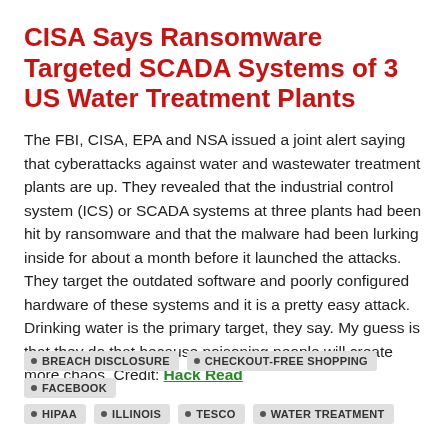CISA Says Ransomware Targeted SCADA Systems of 3 US Water Treatment Plants
The FBI, CISA, EPA and NSA issued a joint alert saying that cyberattacks against water and wastewater treatment plants are up. They revealed that the industrial control system (ICS) or SCADA systems at three plants had been hit by ransomware and that the malware had been lurking inside for about a month before it launched the attacks. They target the outdated software and poorly configured hardware of these systems and it is a pretty easy attack. Drinking water is the primary target, they say. My guess is that they do that because poisoning people will create more chaos. Credit: Hack Read
BREACH DISCLOSURE
CHECKOUT-FREE SHOPPING
FACEBOOK
HIPAA
ILLINOIS
TESCO
WATER TREATMENT